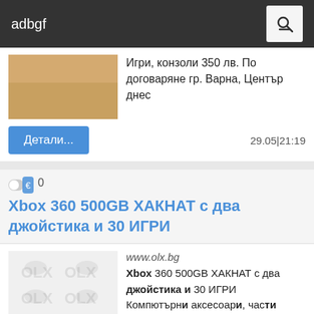adbgf
Игри, конзоли 350 лв. По договаряне гр. Варна, Център днес
Детали...
29.05|21:19
Xbox 360 500GB ХАКНАТ с два джойстика и 30 ИГРИ
www.olx.bg
Xbox 360 500GB ХАКНАТ с два джойстика и 30 ИГРИ Компютърни аксесоари, части Игри, конзоли 230 лв. гр. Плевен, Мара Денчева днес
Детали
16.11|23:06